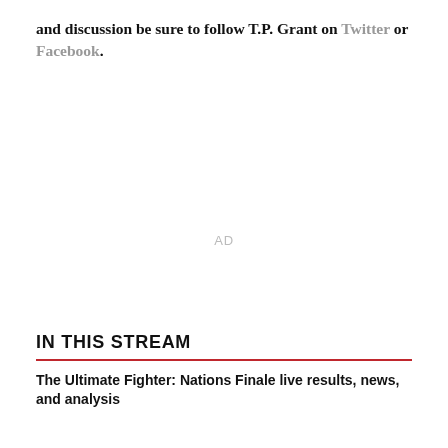and discussion be sure to follow T.P. Grant on Twitter or Facebook.
[Figure (other): Advertisement placeholder with 'AD' label in light gray]
IN THIS STREAM
The Ultimate Fighter: Nations Finale live results, news, and analysis